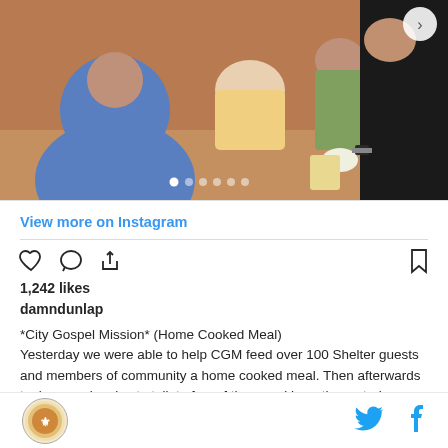[Figure (photo): People seated at a table being served food at City Gospel Mission. One person in a blue shirt is visible from behind, others are seated around a table. A person in dark clothing with a watch is serving food wearing gloves.]
View more on Instagram
1,242 likes
damndunlap
*City Gospel Mission* (Home Cooked Meal)
Yesterday we were able to help CGM feed over 100 Shelter guests and members of community a home cooked meal. Then afterwards took a couple mins to talk to few of them and hear there stories.
[Figure (logo): Circular logo with orange/gold design]
[Figure (logo): Twitter bird icon in cyan blue]
[Figure (logo): Facebook f icon in cyan blue]